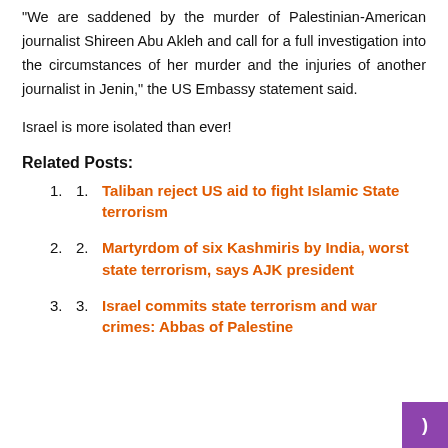“We are saddened by the murder of Palestinian-American journalist Shireen Abu Akleh and call for a full investigation into the circumstances of her murder and the injuries of another journalist in Jenin,” the US Embassy statement said.
Israel is more isolated than ever!
Related Posts:
Taliban reject US aid to fight Islamic State terrorism
Martyrdom of six Kashmiris by India, worst state terrorism, says AJK president
Israel commits state terrorism and war crimes: Abbas of Palestine